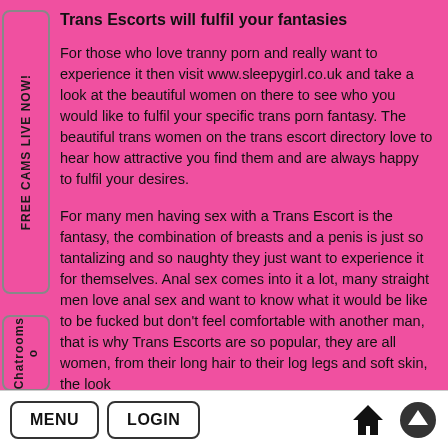FREE CAMS LIVE NOW!
Chatrooms o
Trans Escorts will fulfil your fantasies
For those who love tranny porn and really want to experience it then visit www.sleepygirl.co.uk and take a look at the beautiful women on there to see who you would like to fulfil your specific trans porn fantasy. The beautiful trans women on the trans escort directory love to hear how attractive you find them and are always happy to fulfil your desires.
For many men having sex with a Trans Escort is the fantasy, the combination of breasts and a penis is just so tantalizing and so naughty they just want to experience it for themselves. Anal sex comes into it a lot, many straight men love anal sex and want to know what it would be like to be fucked but don't feel comfortable with another man, that is why Trans Escorts are so popular, they are all women, from their long hair to their log legs and soft skin, the look
MENU
LOGIN